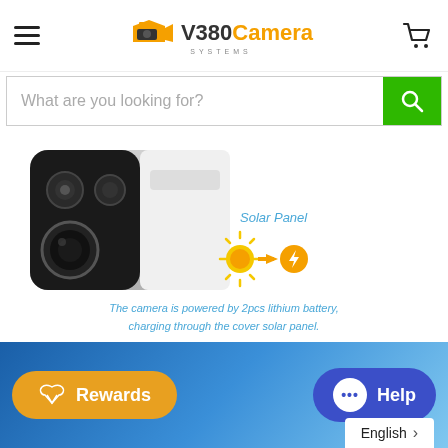[Figure (logo): V380 Camera Systems logo with orange camera icon, hamburger menu on left, shopping cart on right]
[Figure (screenshot): Search bar with placeholder text 'What are you looking for?' and green search button]
[Figure (photo): Security camera close-up showing lens and IR lights]
Solar Panel
[Figure (illustration): Sun icon with arrow pointing to orange battery/lightning bolt icon representing solar charging]
The camera is powered by 2pcs lithium battery, charging through the cover solar panel.
[Figure (illustration): Green battery icon showing full charge]
[Figure (screenshot): Blue gradient bottom section with Rewards button (orange) and Help button (blue), English language selector]